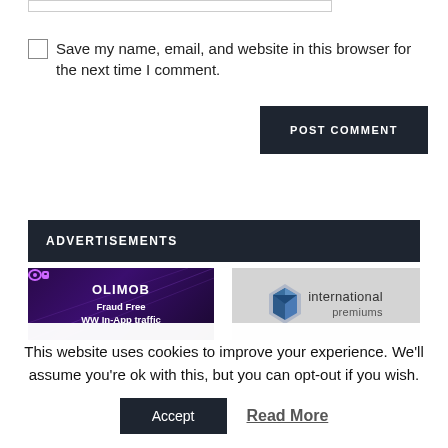Save my name, email, and website in this browser for the next time I comment.
POST COMMENT
ADVERTISEMENTS
[Figure (logo): OLIMOB ad banner - Fraud Free WW In-App traffic, dark purple background]
[Figure (logo): International Premiums ad banner, grey background with blue 3D diamond logo]
This website uses cookies to improve your experience. We'll assume you're ok with this, but you can opt-out if you wish.
Accept
Read More